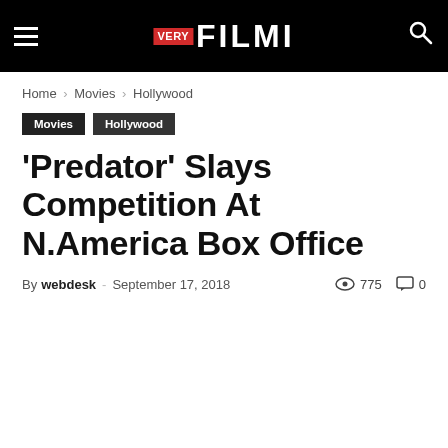VERY FILMI
Home › Movies › Hollywood
Movies
Hollywood
'Predator' Slays Competition At N.America Box Office
By webdesk - September 17, 2018  775  0